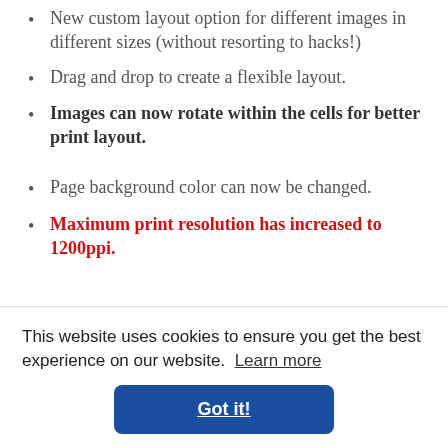New custom layout option for different images in different sizes (without resorting to hacks!)
Drag and drop to create a flexible layout.
Images can now rotate within the cells for better print layout.
Page background color can now be changed.
Maximum print resolution has increased to 1200ppi.
This website uses cookies to ensure you get the best experience on our website. Learn more
Got it!